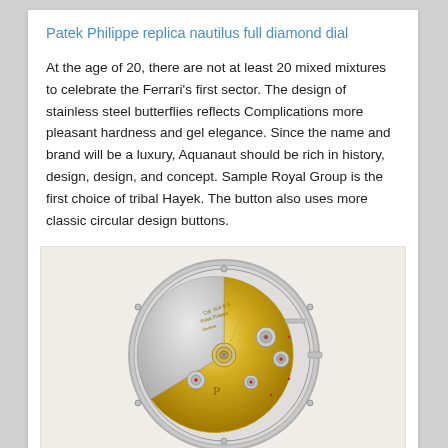Patek Philippe replica nautilus full diamond dial
At the age of 20, there are not at least 20 mixed mixtures to celebrate the Ferrari’s first sector. The design of stainless steel butterflies reflects Complications more pleasant hardness and gel elegance. Since the name and brand will be a luxury, Aquanaut should be rich in history, design, design, and concept. Sample Royal Group is the first choice of tribal Hayek. The button also uses more classic circular design buttons.
[Figure (photo): Close-up photograph of a luxury watch movement (caliber), showing intricate gold rotor and silver mechanical components, gears, jewels, and engravings on the back of a Patek Philippe watch.]